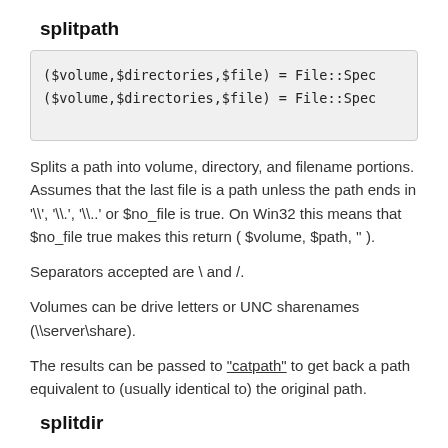splitpath
($volume,$directories,$file) = File::Spec
($volume,$directories,$file) = File::Spec
Splits a path into volume, directory, and filename portions. Assumes that the last file is a path unless the path ends in '\\', '\\.', '\\..' or $no_file is true. On Win32 this means that $no_file true makes this return ( $volume, $path, '' ).
Separators accepted are \ and /.
Volumes can be drive letters or UNC sharenames (\\server\share).
The results can be passed to "catpath" to get back a path equivalent to (usually identical to) the original path.
splitdir